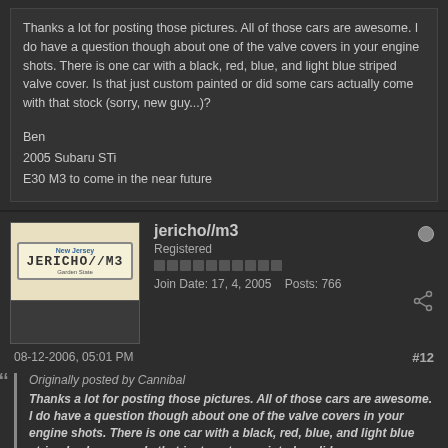Thanks a lot for posting those pictures. All of those cars are awesome. I do have a question though about one of the valve covers in your engine shots. There is one car with a black, red, blue, and light blue striped valve cover. Is that just custom painted or did some cars actually come with that stock (sorry, new guy...)?
Ben
2005 Subaru STi
E30 M3 to come in the near future
jericho//m3
Registered
Join Date: 17, 4, 2005   Posts: 766
08-12-2006, 05:01 PM
#12
Originally posted by Cannibal
Thanks a lot for posting those pictures. All of those cars are awesome. I do have a question though about one of the valve covers in your engine shots. There is one car with a black, red, blue, and light blue striped valve cover. Is that just custom painted or did some cars actually